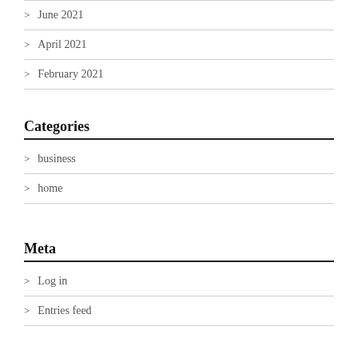June 2021
April 2021
February 2021
Categories
business
home
Meta
Log in
Entries feed